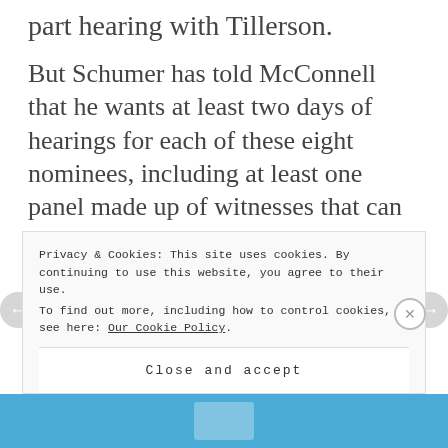part hearing with Tillerson.
But Schumer has told McConnell that he wants at least two days of hearings for each of these eight nominees, including at least one panel made up of witnesses that can speak to the pick's past record, aides said. At each hearing, members of the committee would get at least 10 minutes to ask questions, with no limits on multiple
Privacy & Cookies: This site uses cookies. By continuing to use this website, you agree to their use.
To find out more, including how to control cookies, see here: Our Cookie Policy
Close and accept